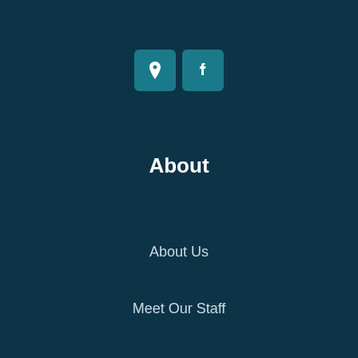[Figure (illustration): Two teal rounded square icon buttons side by side: a location pin icon and a Facebook 'f' icon]
About
About Us
Meet Our Staff
Customer Reviews
Insurance Companies
Insurance Blog